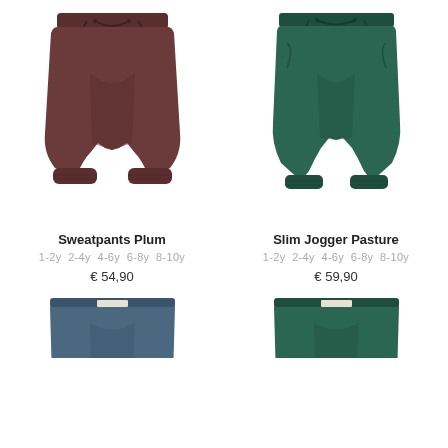[Figure (photo): Brown/plum children's sweatpants with elastic waistband and drawstring, ribbed cuffs at ankles]
Sweatpants Plum
1-2y  2-4y  4-6y  6-8y  8-10y
€ 54,90
[Figure (photo): Green/pasture children's slim jogger pants with elastic waistband and drawstring, ribbed cuffs at ankles]
Slim Jogger Pasture
1-2y  2-4y  4-6y  6-8y  8-10y
€ 59,90
[Figure (photo): Partial view of navy blue children's pants, bottom portion cut off]
[Figure (photo): Partial view of dark green children's pants, bottom portion cut off]